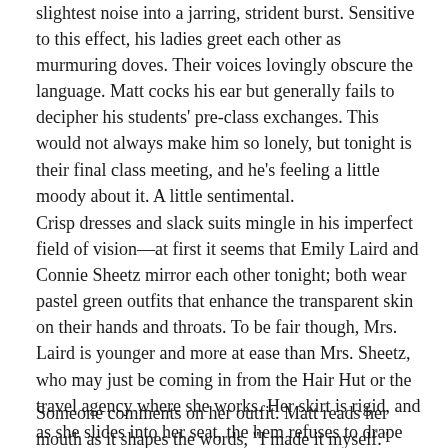slightest noise into a jarring, strident burst. Sensitive to this effect, his ladies greet each other as murmuring doves. Their voices lovingly obscure the language. Matt cocks his ear but generally fails to decipher his students' pre-class exchanges. This would not always make him so lonely, but tonight is their final class meeting, and he's feeling a little moody about it. A little sentimental.
Crisp dresses and slack suits mingle in his imperfect field of vision—at first it seems that Emily Laird and Connie Sheetz mirror each other tonight; both wear pastel green outfits that enhance the transparent skin on their hands and throats. To be fair though, Mrs. Laird is younger and more at ease than Mrs. Sheetz, who may just be coming in from the Hair Hut or the travel agency where she works. Her skirt is rigid, and as she slides into her seat, the hem refuses to drape along the shape of her bent knees.
Someone comments on her outfit. Matt reads her mouth as it shapes the words, "I made it myself."